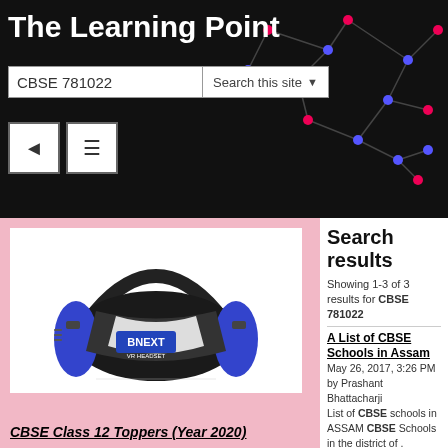The Learning Point
CBSE 781022   Search this site
[Figure (screenshot): Website header with dark background, network/dot pattern on right, site title 'The Learning Point', search bar with 'CBSE 781022', navigation buttons]
[Figure (photo): BNEXT VR Headset product photo on pink/white background]
CBSE Class 12 Toppers (Year 2020)
Search results
Showing 1-3 of 3 results for CBSE 781022
A List of CBSE Schools in Assam May 26, 2017, 3:26 PM by Prashant Bhattacharji List of CBSE schools in ASSAM CBSE Schools in the district of . ASSAM Name of